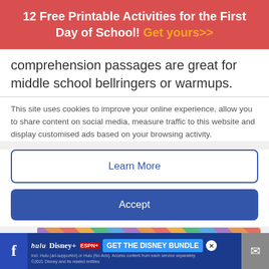12 Free Printable Activities for the First Day of School! Get yours>>
comprehension passages are great for middle school bellringers or warmups.
This site uses cookies to improve your online experience, allow you to share content on social media, measure traffic to this website and display customised ads based on your browsing activity.
Learn More
Accept
[Figure (photo): Colorful educational activity sheets, illustrated with bright colors]
hulu Disney+ ESPN+ GET THE DISNEY BUNDLE Incl. Hulu (ad-supported) or Hulu (No Ads). Access content from each service separately. ©2021 Disney and its related entities